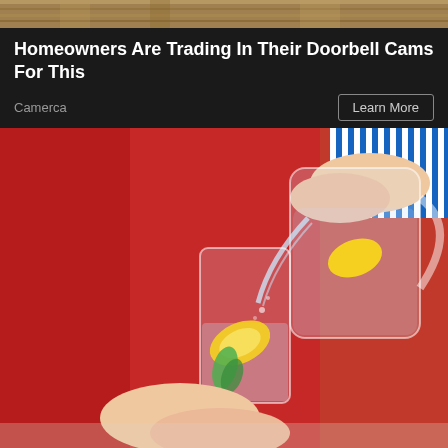[Figure (photo): Top portion of advertisement image showing stone/rock texture background]
Homeowners Are Trading In Their Doorbell Cams For This
Camerca
Learn More
[Figure (photo): Woman in red sweater pouring water with lemon and mint from a glass pitcher into a drinking glass]